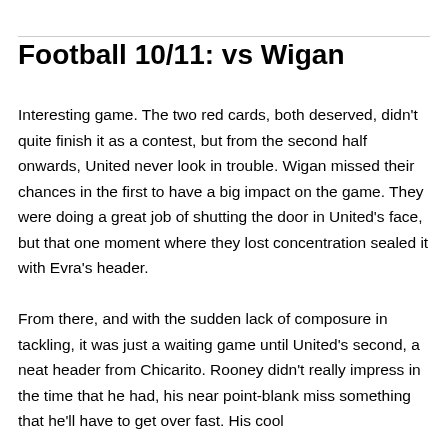Football 10/11: vs Wigan
Interesting game. The two red cards, both deserved, didn't quite finish it as a contest, but from the second half onwards, United never look in trouble. Wigan missed their chances in the first to have a big impact on the game. They were doing a great job of shutting the door in United's face, but that one moment where they lost concentration sealed it with Evra's header.
From there, and with the sudden lack of composure in tackling, it was just a waiting game until United's second, a neat header from Chicarito. Rooney didn't really impress in the time that he had, his near point-blank miss something that he'll have to get over fast. His cool